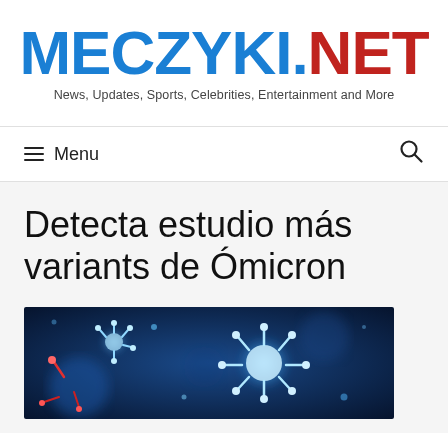MECZYKI.NET — News, Updates, Sports, Celebrities, Entertainment and More
≡ Menu
Detecta estudio más variants de Ómicron
[Figure (photo): Close-up scientific illustration of coronavirus particles glowing blue and white against a dark blue background, with red spiked virus structures visible.]